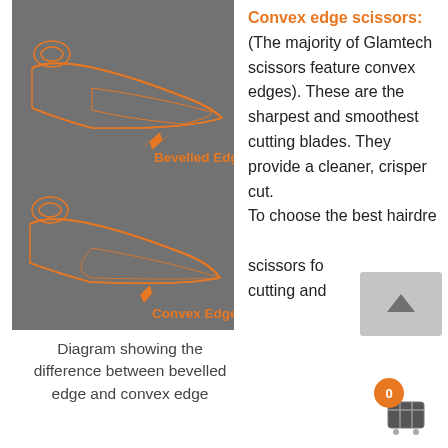[Figure (engineering-diagram): Diagram on dark grey background showing cross-sections of two scissor blade edges: top blade labelled 'Bevelled Edge' with an orange arrow, bottom blade labelled 'Convex Edge' with an orange arrow. Both blades drawn in orange outlines on grey.]
Diagram showing the difference between bevelled edge and convex edge
Convex edge scissors: (The majority of Glamtech scissors feature convex edges). These are the sharpest and smoothest cutting blades. They provide a cleaner, crisper cut. To choose the best hairdressing scissors for cutting and